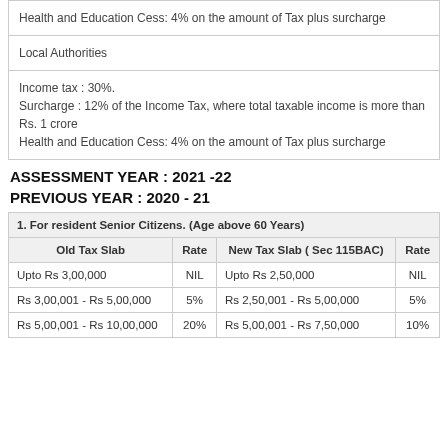| Health and Education Cess: 4% on the amount of Tax plus surcharge |
| Local Authorities |
| Income tax : 30%.
Surcharge : 12% of the Income Tax, where total taxable income is more than Rs. 1 crore
Health and Education Cess: 4% on the amount of Tax plus surcharge |
ASSESSMENT YEAR : 2021 -22
PREVIOUS YEAR : 2020 - 21
| Old Tax Slab | Rate | New Tax Slab ( Sec 115BAC) | Rate |
| --- | --- | --- | --- |
| Upto Rs 3,00,000 | NIL | Upto Rs 2,50,000 | NIL |
| Rs 3,00,001 - Rs 5,00,000 | 5% | Rs 2,50,001 - Rs 5,00,000 | 5% |
| Rs 5,00,001 - Rs 10,00,000 | 20% | Rs 5,00,001 - Rs 7,50,000 | 10% |